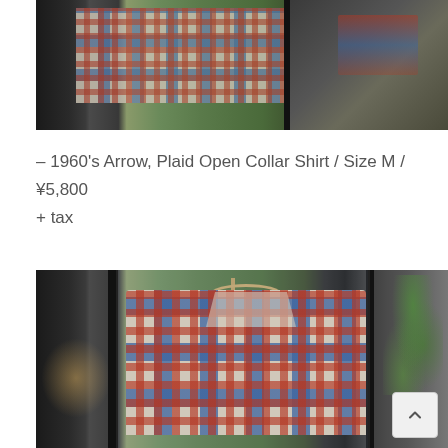[Figure (photo): Top portion of a vintage plaid flannel shirt displayed in a store, showing the collar and upper body area. Blue and red plaid pattern. Photo appears cropped showing just the top of the garment.]
– 1960's Arrow, Plaid Open Collar Shirt / Size M / ¥5,800 + tax
[Figure (photo): Full view of a 1960s Arrow brand plaid open collar shirt hanging on a wooden hanger in a retail store. The shirt features a blue and red plaid pattern with two chest pockets. Store background visible with glass panels and foliage outside.]